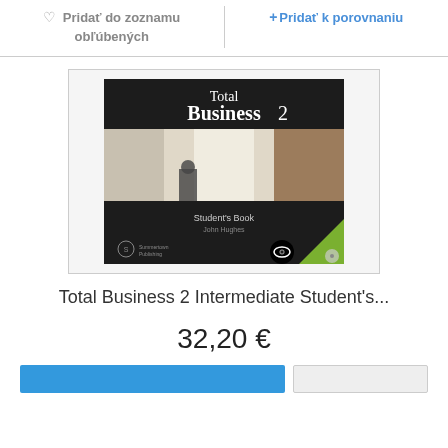Pridať do zoznamu obľúbených
+ Pridať k porovnaniu
[Figure (photo): Book cover of Total Business 2 Intermediate Student's Book by John Hughes, showing a black cover with a hallway photograph and publisher logos]
Total Business 2 Intermediate Student's...
32,20 €